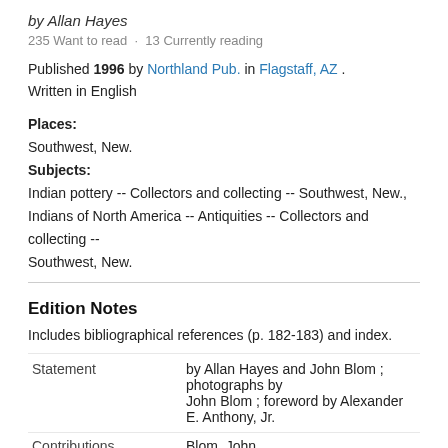by Allan Hayes
235 Want to read · 13 Currently reading
Published 1996 by Northland Pub. in Flagstaff, AZ . Written in English
Places: Southwest, New. Subjects: Indian pottery -- Collectors and collecting -- Southwest, New., Indians of North America -- Antiquities -- Collectors and collecting -- Southwest, New.
Edition Notes
Includes bibliographical references (p. 182-183) and index.
|  |  |
| --- | --- |
| Statement | by Allan Hayes and John Blom ; photographs by John Blom ; foreword by Alexander E. Anthony, Jr. |
| Contributions | Blom, John. |
| Classifications |  |
| LC Classifications | E78.S7 H39 1996 |
The Physical